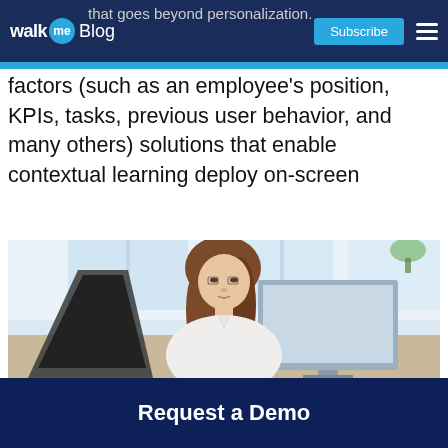WalkMe Blog | Subscribe
that goes beyond personalization. By analyzing a broad range of contextual factors (such as an employee's position, KPIs, tasks, previous user behavior, and many others) solutions that enable contextual learning deploy on-screen
[Figure (photo): A young woman with long brown hair wearing a white blouse sitting at a desk looking at a computer monitor in an office environment with large windows in the background.]
Request a Demo